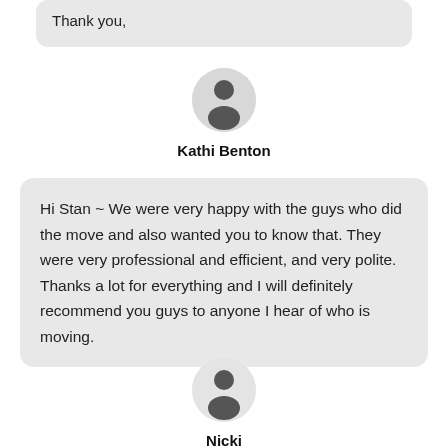Thank you,
[Figure (illustration): Generic user avatar icon for Kathi Benton — circular grey background with dark silhouette of a person]
Kathi Benton
Hi Stan ~ We were very happy with the guys who did the move and also wanted you to know that. They were very professional and efficient, and very polite. Thanks a lot for everything and I will definitely recommend you guys to anyone I hear of who is moving.
[Figure (illustration): Generic user avatar icon for Nicki — circular light grey background with dark silhouette of a person]
Nicki